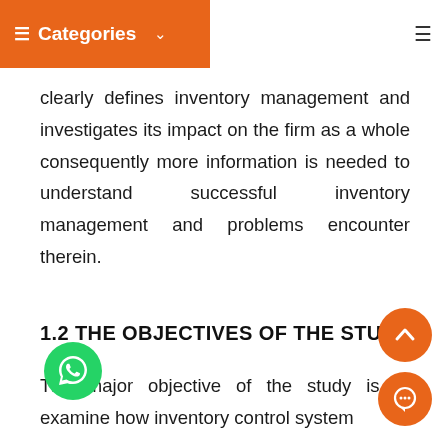Categories
clearly defines inventory management and investigates its impact on the firm as a whole consequently more information is needed to understand successful inventory management and problems encounter therein.
1.2 THE OBJECTIVES OF THE STUDY
The major objective of the study is to examine how inventory control system